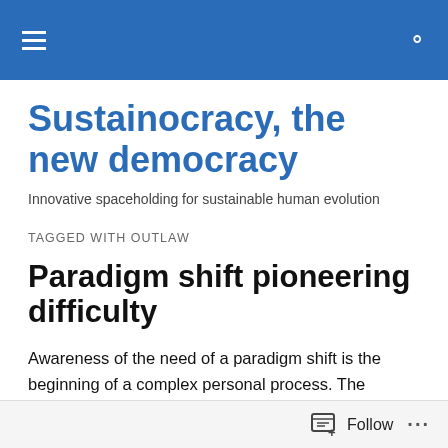Sustainocracy, the new democracy
Sustainocracy, the new democracy
Innovative spaceholding for sustainable human evolution
TAGGED WITH OUTLAW
Paradigm shift pioneering difficulty
Awareness of the need of a paradigm shift is the beginning of a complex personal process. The problem resides in the
Follow ...